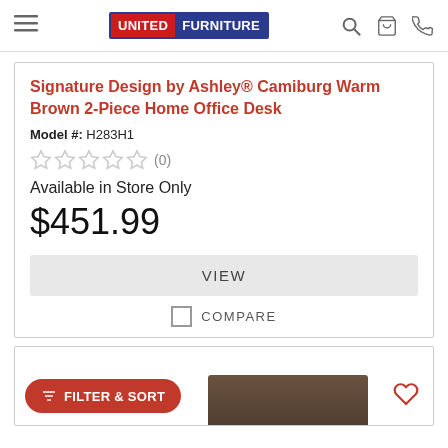United Furniture — navigation header with logo, search, cart, and phone icons
Signature Design by Ashley® Camiburg Warm Brown 2-Piece Home Office Desk
Model #: H283H1
★★★★★ (0)
Available in Store Only
$451.99
VIEW
COMPARE
[Figure (screenshot): Partial second product card with FILTER & SORT button and heart icon, showing top of a dark brown desk]